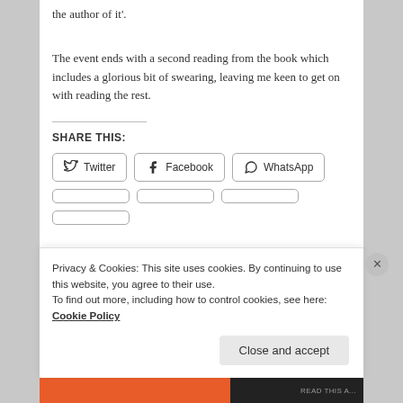the author of it'.
The event ends with a second reading from the book which includes a glorious bit of swearing, leaving me keen to get on with reading the rest.
SHARE THIS:
Privacy & Cookies: This site uses cookies. By continuing to use this website, you agree to their use.
To find out more, including how to control cookies, see here: Cookie Policy